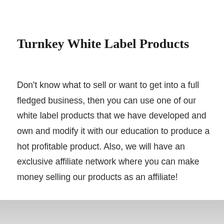Turnkey White Label Products
Don't know what to sell or want to get into a full fledged business, then you can use one of our white label products that we have developed and own and modify it with our education to produce a hot profitable product. Also, we will have an exclusive affiliate network where you can make money selling our products as an affiliate!
[Figure (photo): Gray gradient background image at the bottom of the page]